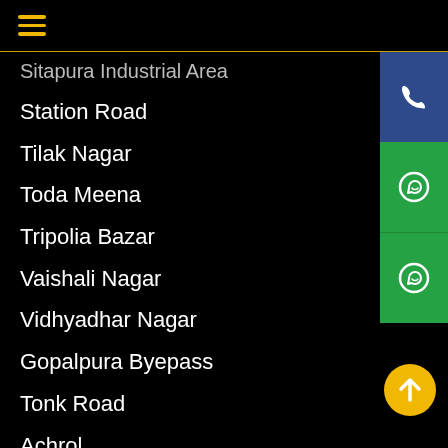☰
Sitapura Industrial Area
Station Road
Tilak Nagar
Toda Meena
Tripolia Bazar
Vaishali Nagar
Vidhyadhar Nagar
Gopalpura Byepass
Tonk Road
Achrol
Gandhi Nagar
bapu bazar
Bais Godam
Bagru
Badi Chaupar
Bas Badanpura
Phulera